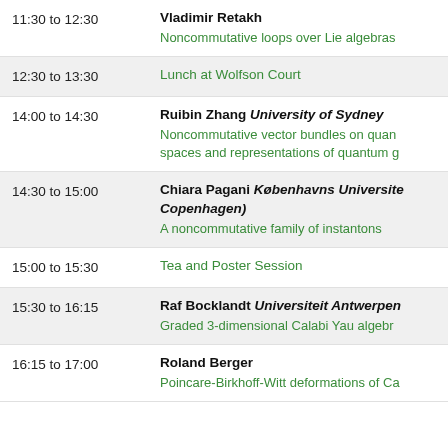11:30 to 12:30 | Vladimir Retakh | Noncommutative loops over Lie algebras
12:30 to 13:30 | Lunch at Wolfson Court
14:00 to 14:30 | Ruibin Zhang University of Sydney | Noncommutative vector bundles on quantum spaces and representations of quantum groups
14:30 to 15:00 | Chiara Pagani Københavns Universitet (Copenhagen) | A noncommutative family of instantons
15:00 to 15:30 | Tea and Poster Session
15:30 to 16:15 | Raf Bocklandt Universiteit Antwerpen | Graded 3-dimensional Calabi Yau algebras
16:15 to 17:00 | Roland Berger | Poincare-Birkhoff-Witt deformations of Calabi-Yau algebras